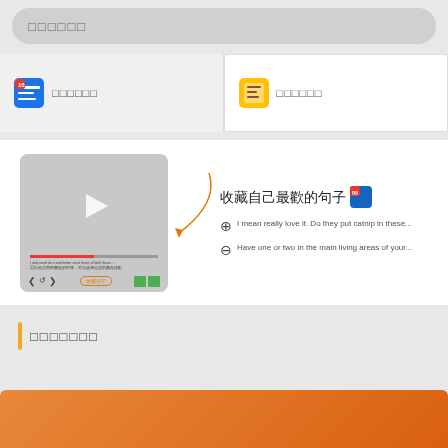□□□□□□
[Figure (screenshot): App card row with two items, each showing an icon and Chinese text]
[Figure (screenshot): Video thumbnail with play button, subtitle text, progress bar, and controls. Arrow pointing to collect button. Feature info showing Chinese title and two English sentence items with plus and minus icons.]
□□□□□□□
[Figure (screenshot): Bottom card section partially visible]